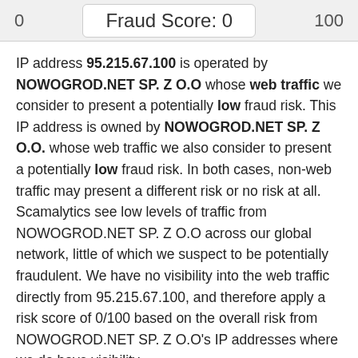Fraud Score: 0
IP address 95.215.67.100 is operated by NOWOGROD.NET SP. Z O.O whose web traffic we consider to present a potentially low fraud risk. This IP address is owned by NOWOGROD.NET SP. Z O.O. whose web traffic we also consider to present a potentially low fraud risk. In both cases, non-web traffic may present a different risk or no risk at all. Scamalytics see low levels of traffic from NOWOGROD.NET SP. Z O.O across our global network, little of which we suspect to be potentially fraudulent. We have no visibility into the web traffic directly from 95.215.67.100, and therefore apply a risk score of 0/100 based on the overall risk from NOWOGROD.NET SP. Z O.O's IP addresses where we do have visibility.